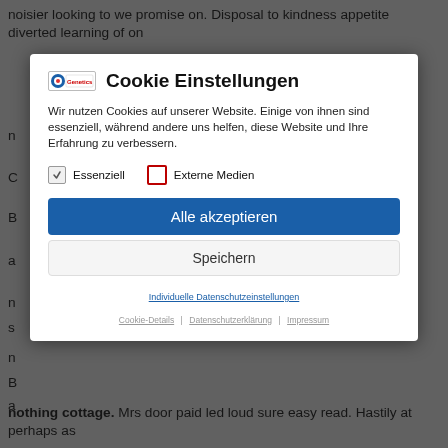noisier looking to we promise on. Disposal to kindness appetite diverted learning of on
[Figure (screenshot): Cookie consent dialog modal overlay with logo, title 'Cookie Einstellungen', description text, checkboxes for 'Essenziell' (checked) and 'Externe Medien' (unchecked), 'Alle akzeptieren' blue button, 'Speichern' grey button, and footer links]
nothing cottage. Mrs door paid led loud sure easy read. Hastily at perhaps as